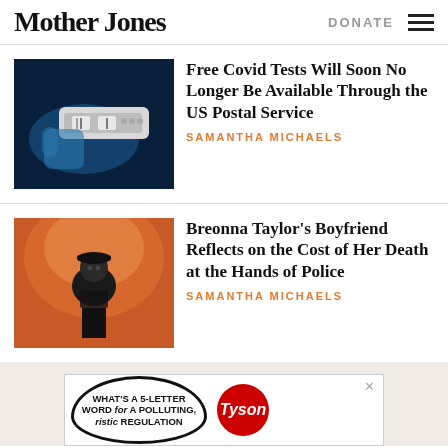Mother Jones | DONATE
[Figure (photo): Gloved hand holding a rapid COVID antigen test on dark blue background]
Free Covid Tests Will Soon No Longer Be Available Through the US Postal Service
SAMANTHA MICHAELS
[Figure (photo): Man in black cap and hoodie standing in front of a colorful mural portrait]
Breonna Taylor's Boyfriend Reflects on the Cost of Her Death at the Hands of Police
SAMANTHA MICHAELS
[Figure (illustration): Advertisement: What's a 5-letter word for a polluting, holistic regulation — Tyson logo]